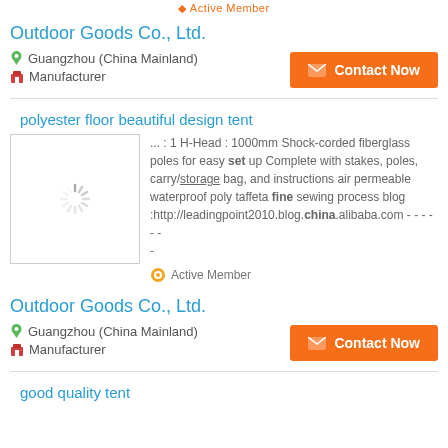Active Member
Outdoor Goods Co., Ltd.
Guangzhou (China Mainland)
Manufacturer
polyester floor beautiful design tent
... : 1 H-Head : 1000mm Shock-corded fiberglass poles for easy set up Complete with stakes, poles, carry/storage bag, and instructions air permeable waterproof poly taffeta fine sewing process blog :http://leadingpoint2010.blog.china.alibaba.com - - - - - -
Active Member
Outdoor Goods Co., Ltd.
Guangzhou (China Mainland)
Manufacturer
good quality tent